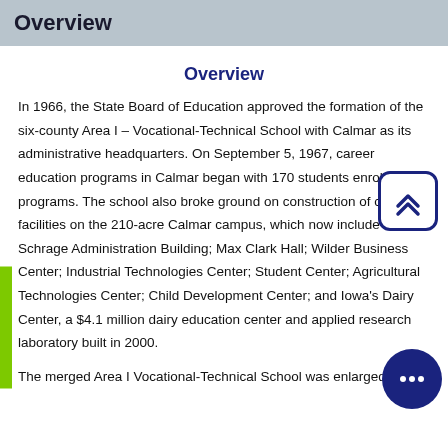Overview
Overview
In 1966, the State Board of Education approved the formation of the six-county Area I – Vocational-Technical School with Calmar as its administrative headquarters. On September 5, 1967, career education programs in Calmar began with 170 students enrolled in programs. The school also broke ground on construction of college facilities on the 210-acre Calmar campus, which now include Irwin L. Schrage Administration Building; Max Clark Hall; Wilder Business Center; Industrial Technologies Center; Student Center; Agricultural Technologies Center; Child Development Center; and Iowa's Dairy Center, a $4.1 million dairy education center and applied research laboratory built in 2000.
The merged Area I Vocational-Technical School was enlarged in